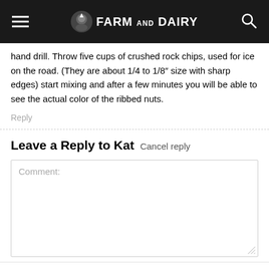Farm and Dairy
hand drill. Throw five cups of crushed rock chips, used for ice on the road. (They are about 1/4 to 1/8″ size with sharp edges) start mixing and after a few minutes you will be able to see the actual color of the ribbed nuts.
Reply
Leave a Reply to Kat  Cancel reply
Comment: